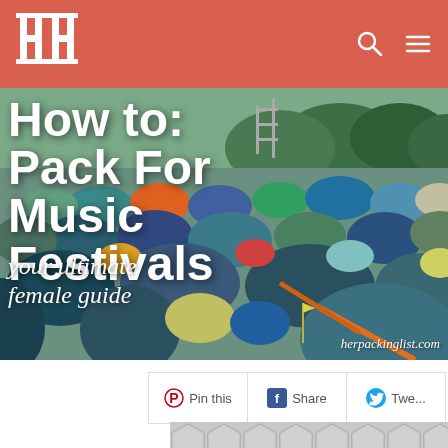HH [logo] navigation bar with search and menu icons
[Figure (photo): Hero image showing a large field packed with colorful camping tents at a music festival, with trees and scaffolding in the background. Overlaid with title text 'How to: Pack For Music Festivals' and subtitle 'your ultimate female guide'. URL herpackinglist.com shown in bottom right.]
How to: Pack For Music Festivals
your ultimate female guide
herpackinglist.com
[Figure (infographic): Social share bar with Pin this, Share, and Tweet buttons]
[Figure (other): Advertisement banner with hexagonal pattern background and close button (▶| ✕)]